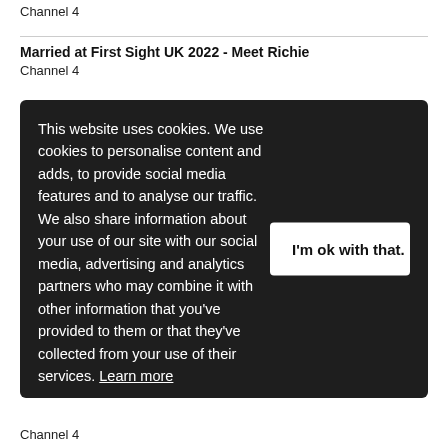Channel 4
Married at First Sight UK 2022 - Meet Richie
Channel 4
[Figure (screenshot): Dark cookie consent banner with text: 'This website uses cookies. We use cookies to personalise content and adds, to provide social media features and to analyse our traffic. We also share information about your use of our site with our social media, advertising and analytics partners who may combine it with other information that you've provided to them or that they've collected from your use of their services. Learn more' and a white button labeled "I'm ok with that."]
Channel 4